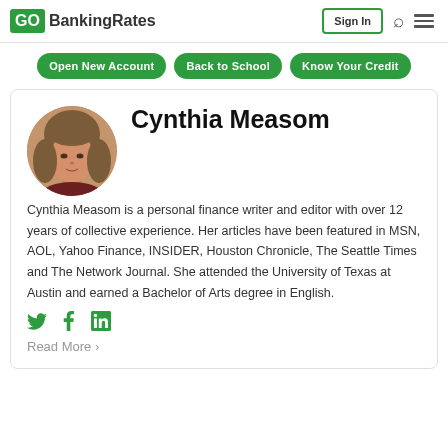GOBankingRates | Sign In
Open New Account | Back to School | Know Your Credit
[Figure (photo): Circular headshot of Cynthia Measom, a woman with long wavy hair]
Cynthia Measom
Cynthia Measom is a personal finance writer and editor with over 12 years of collective experience. Her articles have been featured in MSN, AOL, Yahoo Finance, INSIDER, Houston Chronicle, The Seattle Times and The Network Journal. She attended the University of Texas at Austin and earned a Bachelor of Arts degree in English.
Read More >